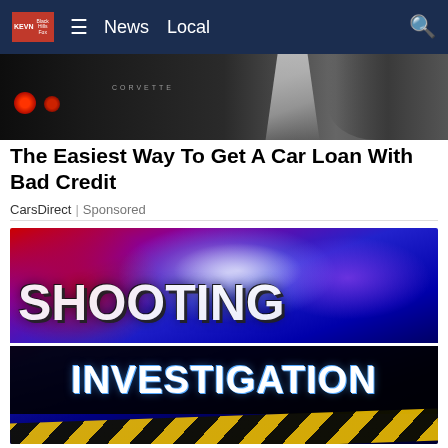KEVN  ☰  News  Local
[Figure (photo): Rear view of a black Corvette sports car with someone's sneakered feet visible, dark background]
The Easiest Way To Get A Car Loan With Bad Credit
CarsDirect | Sponsored
[Figure (photo): Shooting Investigation graphic with police lights in background, yellow crime scene tape, text reading SHOOTING INVESTIGATION]